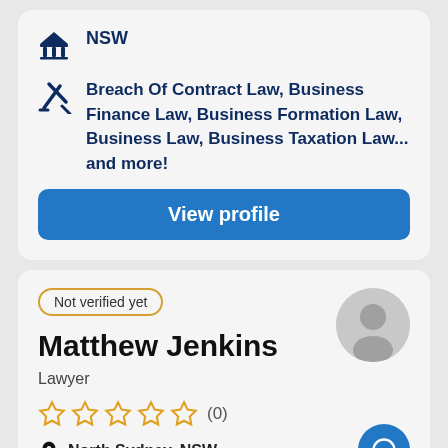NSW
Breach Of Contract Law, Business Finance Law, Business Formation Law, Business Law, Business Taxation Law... and more!
View profile
Not verified yet
Matthew Jenkins
Lawyer
☆ ☆ ☆ ☆ ☆ (0)
North Sydney, NSW